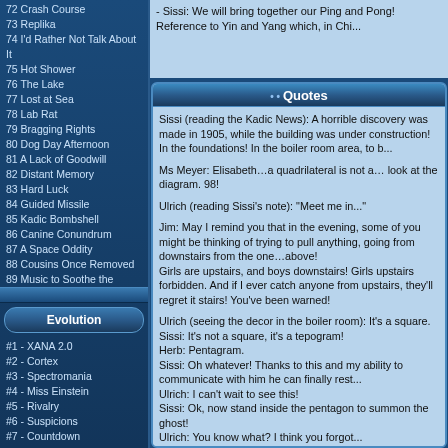72 Crash Course
73 Replika
74 I'd Rather Not Talk About It
75 Hot Shower
76 The Lake
77 Lost at Sea
78 Lab Rat
79 Bragging Rights
80 Dog Day Afternoon
81 A Lack of Goodwill
82 Distant Memory
83 Hard Luck
84 Guided Missile
85 Kadic Bombshell
86 Canine Conundrum
87 A Space Oddity
88 Cousins Once Removed
89 Music to Soothe the Savage Beast
90 Wrong Exposure
91 Bad Connection
92 Cold Sweat
93 Down to Earth
94 Fight to the Finish
95 Echoes
Evolution
#1 - XANA 2.0
#2 - Cortex
#3 - Spectromania
#4 - Miss Einstein
#5 - Rivalry
#6 - Suspicions
#7 - Countdown
- Sissi:  We will bring together our Ping and Pong! Reference to Yin and Yang which, in Chi...
Quotes
Sissi (reading the Kadic News): A horrible discovery was made in 1905, while the building was under construction! In the foundations! In the boiler room area, to b...
Ms Meyer: Elisabeth…a quadrilateral is not a… look at the diagram. 98!
Ulrich (reading Sissi's note): "Meet me in..."
Jim: May I remind you that in the evening, some of you might be thinking of trying to pull anything, going from downstairs from the one…above!
Girls are upstairs, and boys downstairs! Girls upstairs forbidden. And if I ever catch anyone from upstairs, they'll regret it stairs! You've been warned!
Ulrich (seeing the decor in the boiler room): It's a square.
Sissi: It's not a square, it's a tepogram!
Herb: Pentagram.
Sissi: Oh whatever! Thanks to this and my ability to communicate with him he can finally rest in peace!
Ulrich: I can't wait to see this!
Sissi: Ok, now stand inside the pentagon to summon the ghost!
Ulrich: You know what? I think you forgot...
Herb and Nicolas: De profundis tenebrae…
Sissi: I summon you, Leon Courbet!